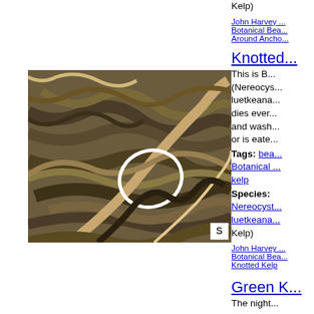Kelp)
John Harvey B... Botanical Bea... Around Ancho...
Knotted...
This is B... (Nereocys... luetkeana... dies ever... and wash... or is eate...
Tags: bea... Botanical ... kelp
Species: Nereocyst... luetkeana... Kelp)
John Harvey ... Botanical Bea... Knotted Kelp
[Figure (photo): Close-up photograph of tangled kelp strands (Nereocystis luetkeana) with an S marker in the bottom right corner]
Green K...
The night... was a